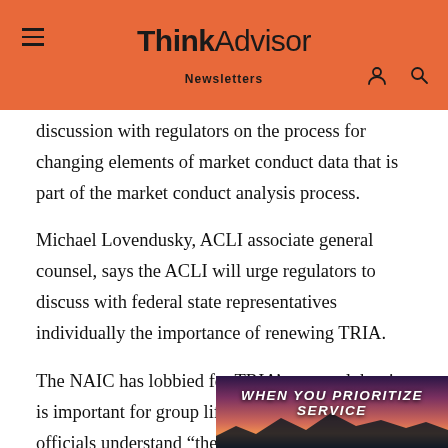ThinkAdvisor
discussion with regulators on the process for changing elements of market conduct data that is part of the market conduct analysis process.
Michael Lovendusky, ACLI associate general counsel, says the ACLI will urge regulators to discuss with federal state representatives individually the importance of renewing TRIA.
The NAIC has lobbied for TRIA’s renewal, but it is important for group life writers that federal officials understand “the impossibility of underwriting a terrorist atta…
The ACLI will also pursue…
[Figure (other): Advertisement overlay: dark mountain silhouette background with text 'WHEN YOU PRIORITIZE SERVICE']